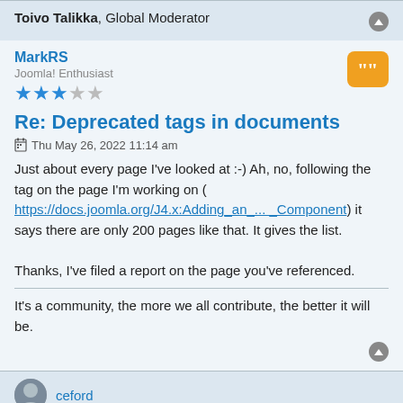Toivo Talikka, Global Moderator
MarkRS
Joomla! Enthusiast
★★★☆☆
Re: Deprecated tags in documents
Thu May 26, 2022 11:14 am
Just about every page I've looked at :-) Ah, no, following the tag on the page I'm working on ( https://docs.joomla.org/J4.x:Adding_an_... _Component) it says there are only 200 pages like that. It gives the list.

Thanks, I've filed a report on the page you've referenced.
It's a community, the more we all contribute, the better it will be.
ceford